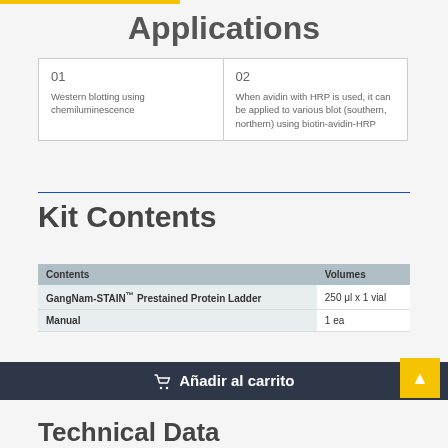Applications
| 01 | 02 |
| --- | --- |
| Western blotting using chemiluminescence | When avidin with HRP is used, it can be applied to various blot (southern, northern) using biotin-avidin-HRP |
Kit Contents
| Contents | Volumes |
| --- | --- |
| GangNam-STAIN™ Prestained Protein Ladder | 250 μl x 1 vial |
| Manual | 1 ea |
Añadir al carrito
Technical Data